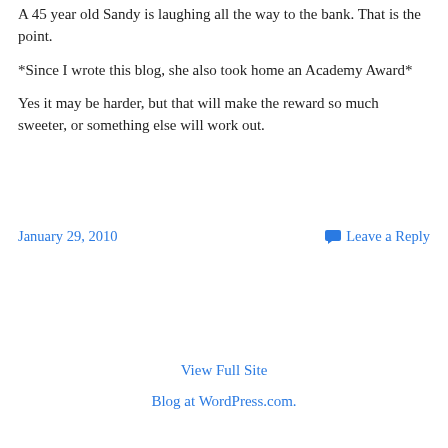A 45 year old Sandy is laughing all the way to the bank. That is the point.
*Since I wrote this blog, she also took home an Academy Award*
Yes it may be harder, but that will make the reward so much sweeter, or something else will work out.
January 29, 2010
Leave a Reply
View Full Site
Blog at WordPress.com.